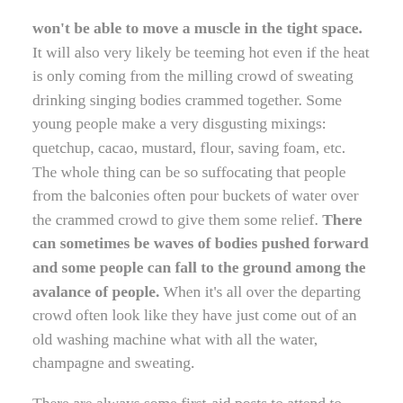won't be able to move a muscle in the tight space. It will also very likely be teeming hot even if the heat is only coming from the milling crowd of sweating drinking singing bodies crammed together. Some young people make a very disgusting mixings: quetchup, cacao, mustard, flour, saving foam, etc. The whole thing can be so suffocating that people from the balconies often pour buckets of water over the crammed crowd to give them some relief. There can sometimes be waves of bodies pushed forward and some people can fall to the ground among the avalance of people. When it's all over the departing crowd often look like they have just come out of an old washing machine what with all the water, champagne and sweating.
There are always some first-aid posts to attend to those who have fainted or bruised themselves, the children among the...